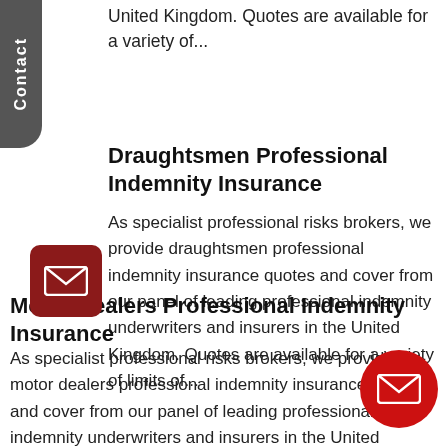United Kingdom. Quotes are available for a variety of...
Draughtsmen Professional Indemnity Insurance
As specialist professional risks brokers, we provide draughtsmen professional indemnity insurance quotes and cover from our panel of leading professional indemnity underwriters and insurers in the United Kingdom. Quotes are available for a variety of limits of...
Motor Dealers Professional Indemnity Insurance
As specialist professional risks brokers, we provide motor dealers professional indemnity insurance quotes and cover from our panel of leading professional indemnity underwriters and insurers in the United Kingdom. Quotes are available for a variety of limits of...